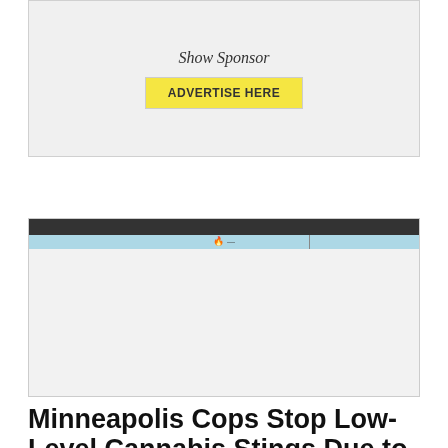[Figure (screenshot): Advertisement box with 'Show Sponsor' italic text and 'ADVERTISE HERE' yellow button on gray background]
[Figure (screenshot): Browser screenshot showing a webpage with dark top bar, light blue tab bar, and gray content area]
Minneapolis Cops Stop Low-Level Cannabis Stings Due to Extreme Racial Disparities
MON / JUN 11TH